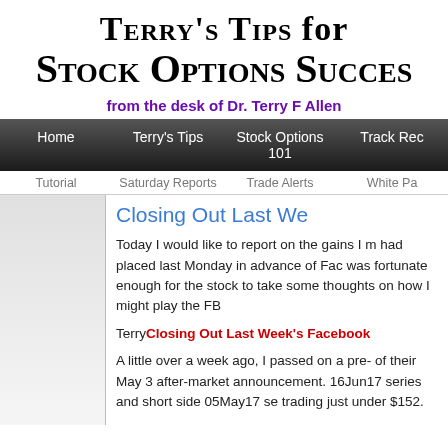Terry's Tips for Stock Options Success
from the desk of Dr. Terry F Allen
Home | Terry's Tips | Stock Options 101 | Track Rec
Tutorial | Saturday Reports | Trade Alerts | White Pa
Closing Out Last We
Today I would like to report on the gains I m had placed last Monday in advance of Fac was fortunate enough for the stock to take some thoughts on how I might play the FB
TerryClosing Out Last Week's Facebook
A little over a week ago, I passed on a pre- of their May 3 after-market announcement. 16Jun17 series and short side 05May17 se trading just under $152.